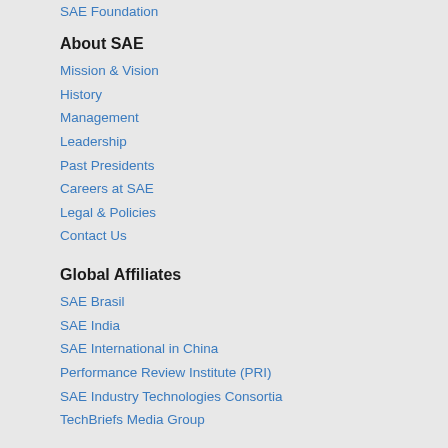SAE Foundation
About SAE
Mission & Vision
History
Management
Leadership
Past Presidents
Careers at SAE
Legal & Policies
Contact Us
Global Affiliates
SAE Brasil
SAE India
SAE International in China
Performance Review Institute (PRI)
SAE Industry Technologies Consortia
TechBriefs Media Group
Connect
[Figure (other): Social media icons for Facebook, Twitter, and LinkedIn]